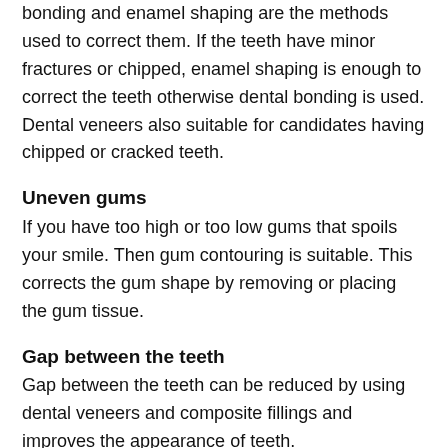bonding and enamel shaping are the methods used to correct them. If the teeth have minor fractures or chipped, enamel shaping is enough to correct the teeth otherwise dental bonding is used. Dental veneers also suitable for candidates having chipped or cracked teeth.
Uneven gums
If you have too high or too low gums that spoils your smile. Then gum contouring is suitable. This corrects the gum shape by removing or placing the gum tissue.
Gap between the teeth
Gap between the teeth can be reduced by using dental veneers and composite fillings and improves the appearance of teeth.